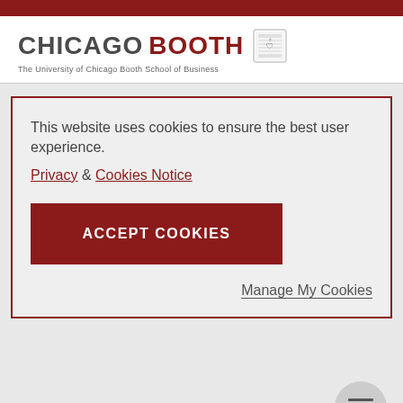[Figure (logo): Chicago Booth logo with shield crest and tagline 'The University of Chicago Booth School of Business']
This website uses cookies to ensure the best user experience.
Privacy & Cookies Notice
ACCEPT COOKIES
Manage My Cookies
Loading...